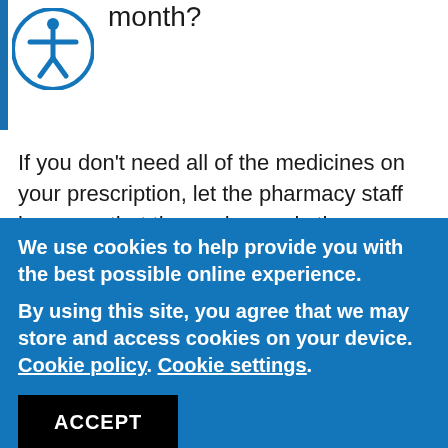[Figure (logo): Accessibility icon inside a blue circle with a blue vertical bar to the left]
month?
If you don't need all of the medicines on your prescription, let the pharmacy staff know, so that they only supply the medicines you need. This will help to reduce waste and save the NHS money.
We use cookies to help provide you with the best possible online experience.
By using this site, you agree that we may store and access cookies on your device. Cookie policy. Cookie settings.
ACCEPT